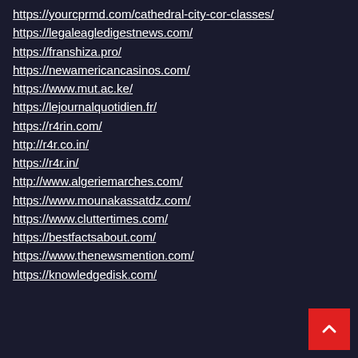https://yourcprmd.com/cathedral-city-cor-classes/
https://legaleagledigestnews.com/
https://franshiza.pro/
https://newamericancasinos.com/
https://www.mut.ac.ke/
https://lejournalquotidien.fr/
https://r4rin.com/
http://r4r.co.in/
https://r4r.in/
http://www.algeriemarches.com/
https://www.mounakassatdz.com/
https://www.cluttertimes.com/
https://bestfactsabout.com/
https://www.thenewsmention.com/
https://knowledgedisk.com/